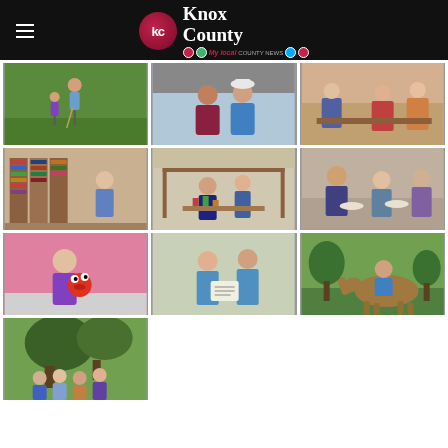Knox County
[Figure (photo): Adult helping child with golf on a green lawn]
[Figure (photo): Two people posing together at an outdoor event]
[Figure (photo): Group of people serving food at an indoor event]
[Figure (photo): Person browsing books in a library]
[Figure (photo): People at an outdoor vendor booth]
[Figure (photo): People serving food at an indoor event]
[Figure (photo): Young girl holding Elmo stuffed animal in a pink-decorated room]
[Figure (photo): Woman and man looking at a document outdoors]
[Figure (photo): Person on horseback on a grassy lawn]
[Figure (photo): Group of people gathered outdoors under trees]